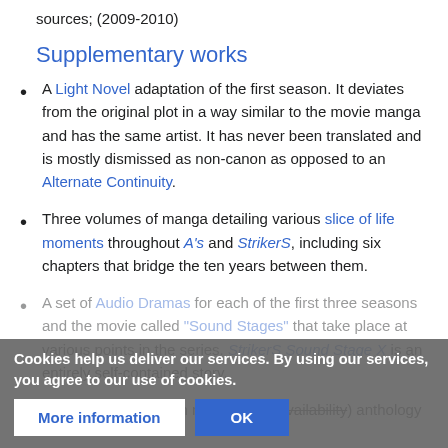sources; (2009-2010)
Supplementary works
A Light Novel adaptation of the first season. It deviates from the original plot in a way similar to the movie manga and has the same artist. It has never been translated and is mostly dismissed as non-canon as opposed to an Alternate Continuity.
Three volumes of manga detailing various slice of life moments throughout A's and StrikerS, including six chapters that bridge the ten years between them.
A set of Audio Dramas for each of the first three seasons and the movie called "Sound Stages" that take place at various points in the series. StrikerS Sound Stage X is an entirely self-contained story.
A semi-canon (though no status on availability) anthology
Cookies help us deliver our services. By using our services, you agree to our use of cookies.